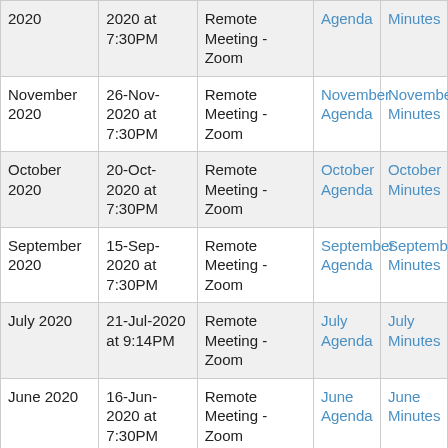| Month | Date | Location | Agenda | Minutes |
| --- | --- | --- | --- | --- |
| 2020 | 2020 at 7:30PM | Remote Meeting - Zoom | Agenda | Minutes |
| November 2020 | 26-Nov-2020 at 7:30PM | Remote Meeting - Zoom | November Agenda | November Minutes |
| October 2020 | 20-Oct-2020 at 7:30PM | Remote Meeting - Zoom | October Agenda | October Minutes |
| September 2020 | 15-Sep-2020 at 7:30PM | Remote Meeting - Zoom | September Agenda | September Minutes |
| July 2020 | 21-Jul-2020 at 9:14PM | Remote Meeting - Zoom | July Agenda | July Minutes |
| June 2020 | 16-Jun-2020 at 7:30PM | Remote Meeting - Zoom | June Agenda | June Minutes |
| May 2020 | 19-May- | Remote Meeting - | May | May |